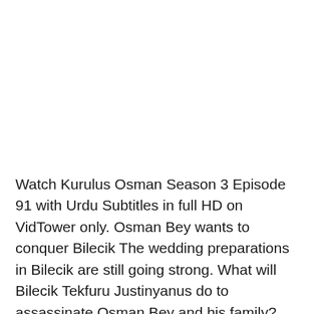Watch Kurulus Osman Season 3 Episode 91 with Urdu Subtitles in full HD on VidTower only. Osman Bey wants to conquer Bilecik The wedding preparations in Bilecik are still going strong. What will Bilecik Tekfuru Justinyanus do to assassinate Osman Bey and his family? Under the pretext of wedding guests, Osman Bey and his Hatuns invade …